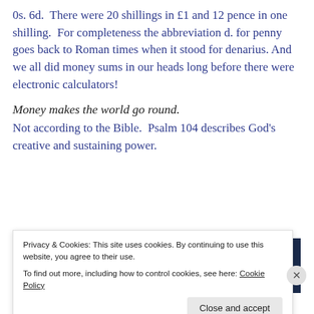0s. 6d.  There were 20 shillings in £1 and 12 pence in one shilling.  For completeness the abbreviation d. for penny goes back to Roman times when it stood for denarius. And we all did money sums in our heads long before there were electronic calculators!
Money makes the world go round.
Not according to the Bible.  Psalm 104 describes God's creative and sustaining power.
[Figure (photo): A photo showing a hand holding coins on the left (warm tones) and a dark navy blue rectangle on the right.]
Privacy & Cookies: This site uses cookies. By continuing to use this website, you agree to their use.
To find out more, including how to control cookies, see here: Cookie Policy